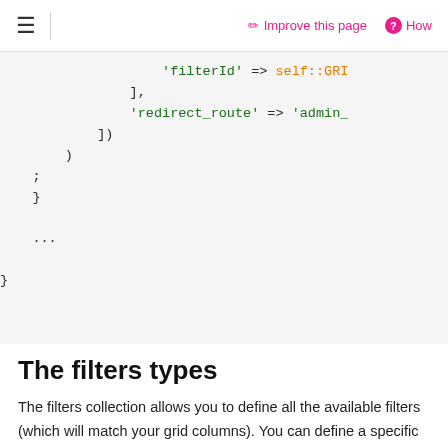≡  |  ✏ Improve this page  ❓ How
[Figure (screenshot): Code block showing PHP/array syntax: 'filterId' => self::GRI, ], 'redirect_route' => 'admin_, ]) ) ; } ... }]
The filters types
The filters collection allows you to define all the available filters (which will match your grid columns). You can define a specific type depending on the column. You can basically use any Symfony form type (including your custom ones) and PrestaShop provides a few filter types that might be useful